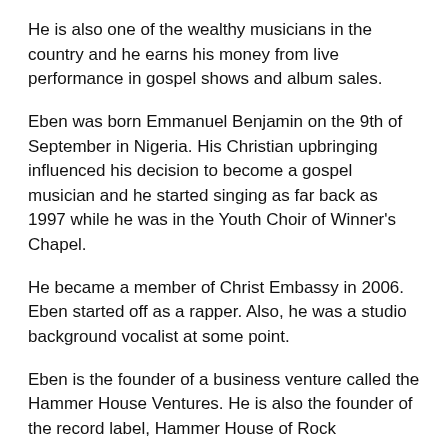He is also one of the wealthy musicians in the country and he earns his money from live performance in gospel shows and album sales.
Eben was born Emmanuel Benjamin on the 9th of September in Nigeria. His Christian upbringing influenced his decision to become a gospel musician and he started singing as far back as 1997 while he was in the Youth Choir of Winner's Chapel.
He became a member of Christ Embassy in 2006. Eben started off as a rapper. Also, he was a studio background vocalist at some point.
Eben is the founder of a business venture called the Hammer House Ventures. He is also the founder of the record label, Hammer House of Rock
When Eben released his debut album “Phenomenon,” it featured the likes of Jahdiel, Dusky, MI and Lyn and it won an award at the Nigeria Gospel Music Award.